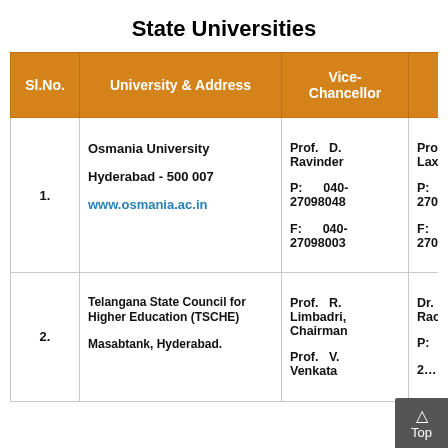State Universities
| Sl.No. | University & Address | Vice-Chancellor | Regis… |
| --- | --- | --- | --- |
| 1. | Osmania University
Hyderabad - 500 007
www.osmania.ac.in | Prof. D. Ravinder
P: 040-27098048
F: 040-27098003 | Prof. Laxmina…
P: 27098048
F: 2709002… |
| 2. | Telangana State Council for Higher Education (TSCHE)
Masabtank, Hyderabad. | Prof. R. Limbadri, Chairman
Prof. V. Venkata… | Dr. N. Sr… Rao, Sec…
P:
2…
2… |